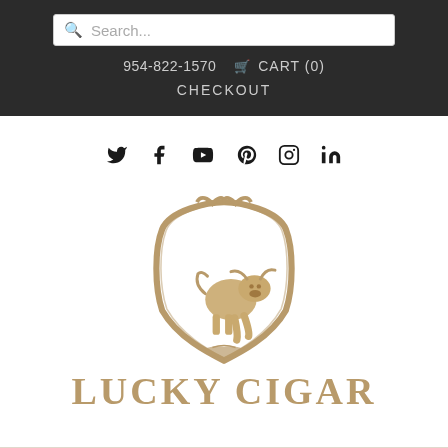Search...
954-822-1570  CART (0)
CHECKOUT
[Figure (logo): Social media icons: Twitter, Facebook, YouTube, Pinterest, Instagram, LinkedIn]
[Figure (logo): Lucky Cigar logo: a gold/bronze shield emblem with a bull inside, above the text LUCKY CIGAR in gold serif letters]